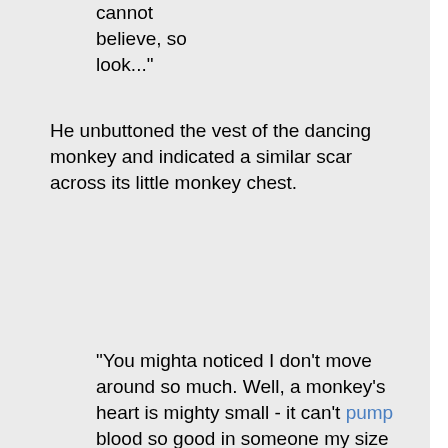cannot believe, so look..."
He unbuttoned the vest of the dancing monkey and indicated a similar scar across its little monkey chest.
"You mighta noticed I don't move around so much. Well, a monkey's heart is mighty small - it can't pump blood so good in someone my size so I can't do much more than turn the crank of this hurdy-gurdy."
He gave the crank a little extra twirl and flourish to emphasize his point. The